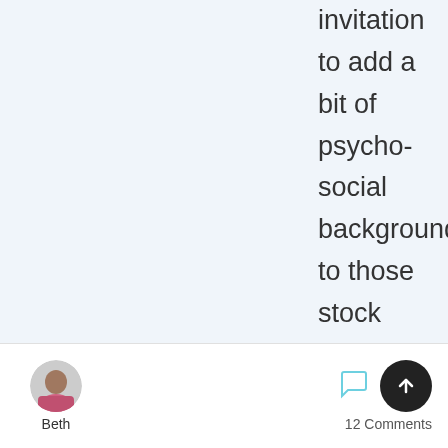invitation to add a bit of psycho-social background to those stock characters.

Thank you for following my A-Z and for your encouraging comments. I appreciate it.

Doris
[Figure (photo): User avatar photo of Beth - a person wearing a pink top]
Beth
12 Comments